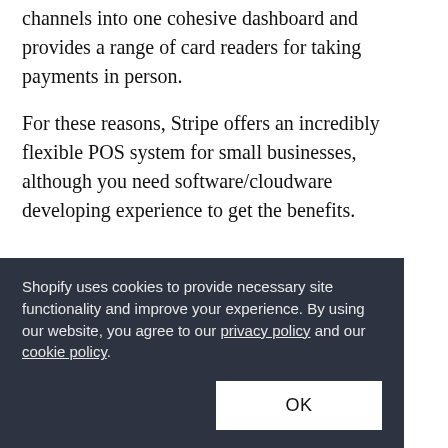channels into one cohesive dashboard and provides a range of card readers for taking payments in person.
For these reasons, Stripe offers an incredibly flexible POS system for small businesses, although you need software/cloudware developing experience to get the benefits.
Shopify uses cookies to provide necessary site functionality and improve your experience. By using our website, you agree to our privacy policy and our cookie policy.